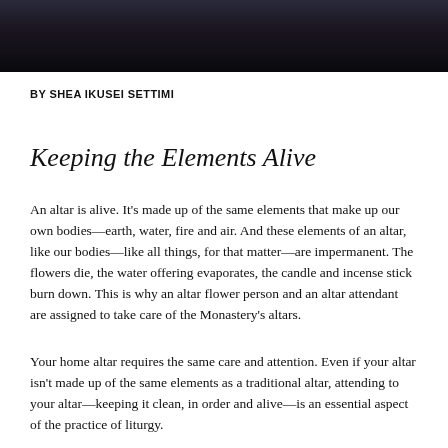[Figure (photo): Dark photograph showing a dimly lit interior scene, likely a monastery or religious setting with a figure visible in the background.]
BY SHEA IKUSEI SETTIMI
Keeping the Elements Alive
An altar is alive. It's made up of the same elements that make up our own bodies—earth, water, fire and air. And these elements of an altar, like our bodies—like all things, for that matter—are impermanent. The flowers die, the water offering evaporates, the candle and incense stick burn down. This is why an altar flower person and an altar attendant are assigned to take care of the Monastery's altars.
Your home altar requires the same care and attention. Even if your altar isn't made up of the same elements as a traditional altar, attending to your altar—keeping it clean, in order and alive—is an essential aspect of the practice of liturgy.